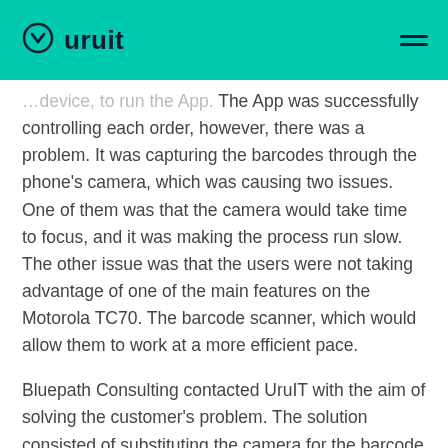uruit
…device, to run the App. The App was successfully controlling each order, however, there was a problem. It was capturing the barcodes through the phone's camera, which was causing two issues. One of them was that the camera would take time to focus, and it was making the process run slow. The other issue was that the users were not taking advantage of one of the main features on the Motorola TC70. The barcode scanner, which would allow them to work at a more efficient pace.
Bluepath Consulting contacted UruIT with the aim of solving the customer's problem. The solution consisted of substituting the camera for the barcode scanner on the App. Mother's day was around the corner, and they needed to speed up